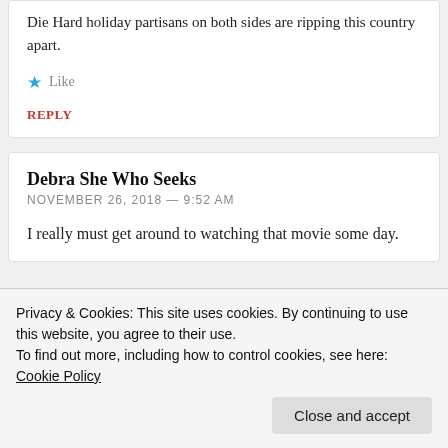Die Hard holiday partisans on both sides are ripping this country apart.
Like
REPLY
Debra She Who Seeks
NOVEMBER 26, 2018 — 9:52 AM
I really must get around to watching that movie some day.
Privacy & Cookies: This site uses cookies. By continuing to use this website, you agree to their use.
To find out more, including how to control cookies, see here: Cookie Policy
Close and accept
Pickleope